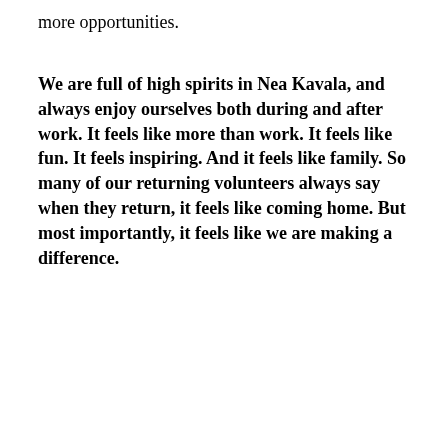more opportunities.
We are full of high spirits in Nea Kavala, and always enjoy ourselves both during and after work. It feels like more than work. It feels like fun. It feels inspiring. And it feels like family. So many of our returning volunteers always say when they return, it feels like coming home. But most importantly, it feels like we are making a difference.